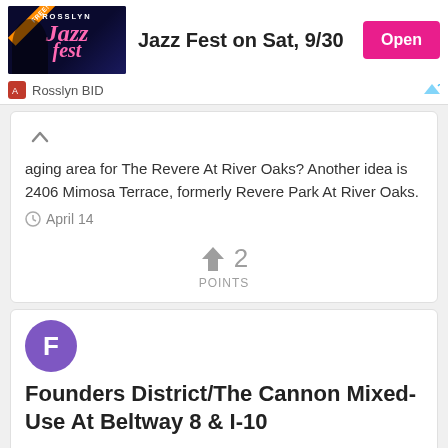[Figure (other): Rosslyn Jazz Fest advertisement banner with event image, title 'Jazz Fest on Sat, 9/30', and Open button. Rosslyn BID sponsor.]
aging area for The Revere At River Oaks? Another idea is 2406 Mimosa Terrace, formerly Revere Park At River Oaks.
April 14
2 POINTS
F
Founders District/The Cannon Mixed-Use At Beltway 8 & I-10
It's still a fun spot. I've been going there for after work